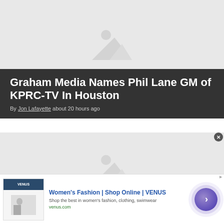[Figure (photo): Placeholder image with mountain/landscape icon on light grey background]
Graham Media Names Phil Lane GM of KPRC-TV In Houston
By Jon Lafayette about 20 hours ago
[Figure (photo): Second article placeholder image on light grey background]
[Figure (other): Advertisement banner: Women's Fashion | Shop Online | VENUS. Shop the best in women's fashion, clothing, swimwear. venus.com]